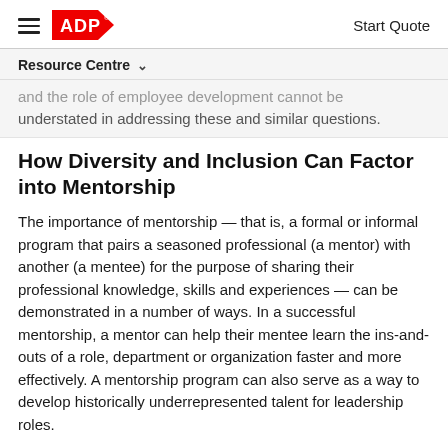ADP — Start Quote
Resource Centre
and the role of employee development cannot be understated in addressing these and similar questions.
How Diversity and Inclusion Can Factor into Mentorship
The importance of mentorship — that is, a formal or informal program that pairs a seasoned professional (a mentor) with another (a mentee) for the purpose of sharing their professional knowledge, skills and experiences — can be demonstrated in a number of ways. In a successful mentorship, a mentor can help their mentee learn the ins-and-outs of a role, department or organization faster and more effectively. A mentorship program can also serve as a way to develop historically underrepresented talent for leadership roles.